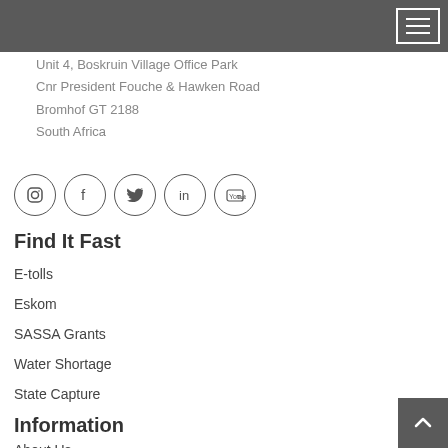Unit 4, Boskruin Village Office Park
Cnr President Fouche & Hawken Road
Bromhof GT 2188
South Africa
[Figure (other): Row of five social media icons in circles: Instagram, Facebook, Twitter, LinkedIn, YouTube]
Find It Fast
E-tolls
Eskom
SASSA Grants
Water Shortage
State Capture
Information
About Us
User Policy